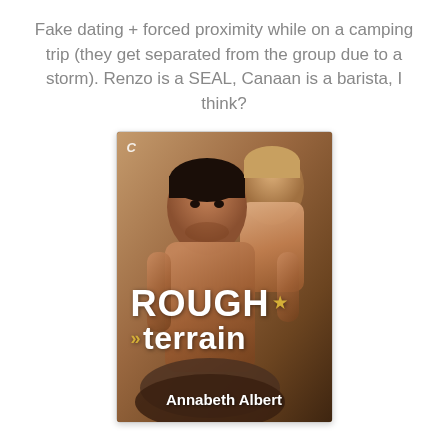Fake dating + forced proximity while on a camping trip (they get separated from the group due to a storm). Renzo is a SEAL, Canaan is a barista, I think?
[Figure (illustration): Book cover for 'Rough Terrain' by Annabeth Albert. Shows two muscular male figures in an intimate pose against a warm brown background. The cover title reads 'ROUGH terrain' with a gold star and gold double-arrow chevrons. Publisher logo 'C' appears top left. Author name 'Annabeth Albert' appears at the bottom.]